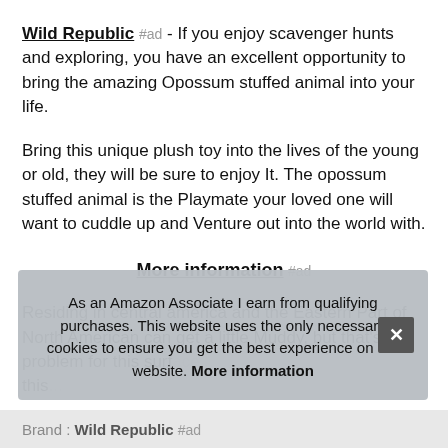Wild Republic #ad - If you enjoy scavenger hunts and exploring, you have an excellent opportunity to bring the amazing Opossum stuffed animal into your life.
Bring this unique plush toy into the lives of the young or old, they will be sure to enjoy It. The opossum stuffed animal is the Playmate your loved one will want to cuddle up and Venture out into the world with.
More information #ad
Residing in central america and the Eastern Part of North American can get a little Muddy, but that's no problem for this surf... this...
As an Amazon Associate I earn from qualifying purchases. This website uses the only necessary cookies to ensure you get the best experience on our website. More information
Brand: Wild Republic #ad